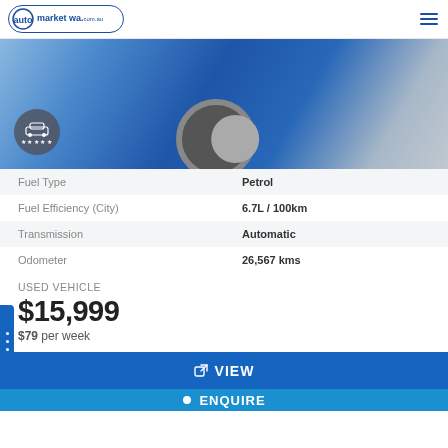[Figure (logo): auto market wa .com.au logo in blue oval border]
[Figure (photo): Blue car front/wheel close-up photo with grey car icon badge and 5 stars overlay]
| Fuel Type | Petrol |
| Fuel Efficiency (City) | 6.7L / 100km |
| Transmission | Automatic |
| Odometer | 26,567 kms |
USED VEHICLE
$15,999
$79 per week
VIEW
ENQUIRE